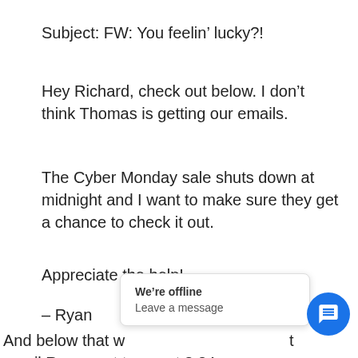Subject: FW: You feelin’ lucky?!
Hey Richard, check out below. I don’t think Thomas is getting our emails.
The Cyber Monday sale shuts down at midnight and I want to make sure they get a chance to check it out.
Appreciate the help!
– Ryan
And below that w… t email Ryan sent to me at 8:24 a.m.
[Figure (screenshot): Chat popup widget showing 'We're offline' and 'Leave a message' with a blue chat button icon]